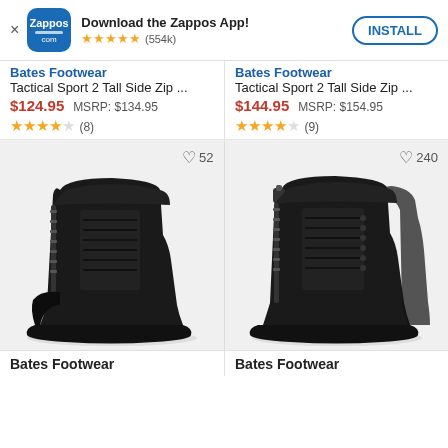[Figure (screenshot): Zappos app install banner with logo, star rating (554k reviews), and INSTALL button]
Bates Footwear
Bates Footwear
Tactical Sport 2 Tall Side Zip ...
Tactical Sport 2 Tall Side Zip ...
$124.95  MSRP: $134.95
$144.95  MSRP: $154.95
★★★★☆ (8)
★★★★☆ (9)
[Figure (photo): Black Bates tactical boot, side zip, lace-up, left product card, 52 favorites]
[Figure (photo): Black Bates tactical boot, side zip, lace-up, right product card, 240 favorites]
Bates Footwear
Bates Footwear